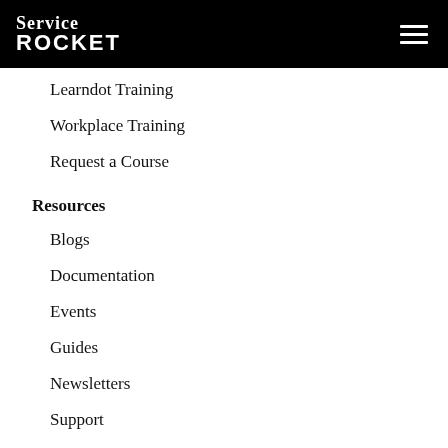[Figure (logo): ServiceRocket logo — white text on black background with hamburger menu icon]
Learndot Training
Workplace Training
Request a Course
Resources
Blogs
Documentation
Events
Guides
Newsletters
Support
Webinars
Company